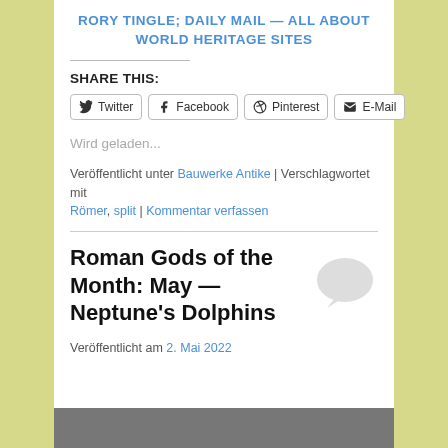RORY TINGLE; DAILY MAIL — ALL ABOUT WORLD HERITAGE SITES
SHARE THIS:
Wird geladen...
Veröffentlicht unter Bauwerke Antike | Verschlagwortet mit Römer, split | Kommentar verfassen
Roman Gods of the Month: May — Neptune's Dolphins
Veröffentlicht am 2. Mai 2022